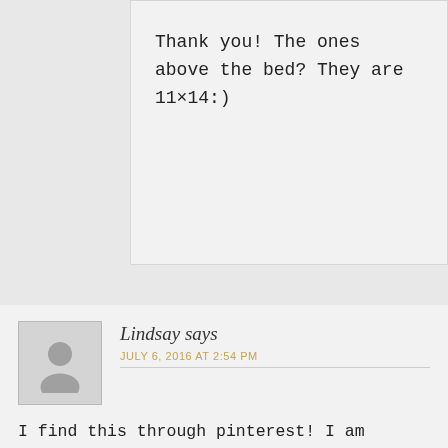Thank you! The ones above the bed? They are 11×14:)
Lindsay says
JULY 6, 2016 AT 2:54 PM
I find this through pinterest! I am curious though... the pin has a throw pillow on the bed closest to the window. It looks like a lion or some other animal... do you mind sharing where it is from?